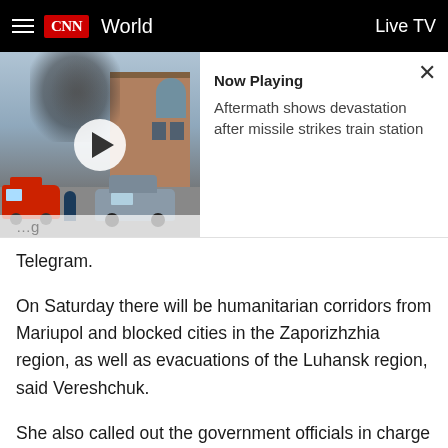CNN World | Live TV
[Figure (screenshot): CNN video thumbnail showing aftermath of missile strike on train station, with fire truck and car visible, smoke in background. Shows 'Now Playing' overlay with text: 'Aftermath shows devastation after missile strikes train station' and a close button.]
Telegram.
On Saturday there will be humanitarian corridors from Mariupol and blocked cities in the Zaporizhzhia region, as well as evacuations of the Luhansk region, said Vereshchuk.
She also called out the government officials in charge of cities like Melitopol and Energodar, which are connected to the Ukrainian humanitarian corridor to Mariupol, for violating international law of operation of humanitarian corridors and cooperating with the